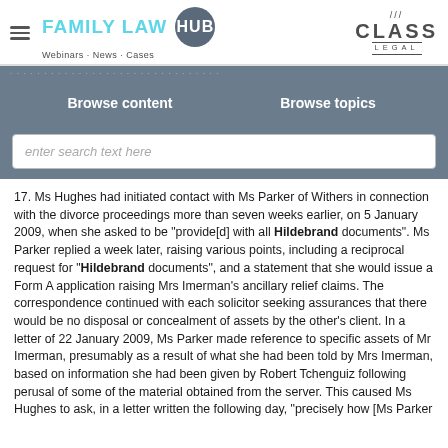FAMILY LAW HUB — Webinars · News · Cases | CLASS LEGAL
Browse content    Browse topics
enter search text here
17. Ms Hughes had initiated contact with Ms Parker of Withers in connection with the divorce proceedings more than seven weeks earlier, on 5 January 2009, when she asked to be "provide[d] with all Hildebrand documents". Ms Parker replied a week later, raising various points, including a reciprocal request for "Hildebrand documents", and a statement that she would issue a Form A application raising Mrs Imerman's ancillary relief claims. The correspondence continued with each solicitor seeking assurances that there would be no disposal or concealment of assets by the other's client. In a letter of 22 January 2009, Ms Parker made reference to specific assets of Mr Imerman, presumably as a result of what she had been told by Mrs Imerman, based on information she had been given by Robert Tchenguiz following perusal of some of the material obtained from the server. This caused Ms Hughes to ask, in a letter written the following day, "precisely how [Ms Parker had given…